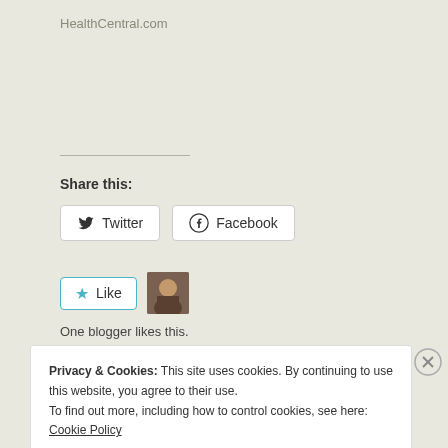HealthCentral.com
Share this:
Twitter  Facebook
Like  One blogger likes this.
Related
Privacy & Cookies: This site uses cookies. By continuing to use this website, you agree to their use.
To find out more, including how to control cookies, see here: Cookie Policy
Close and accept